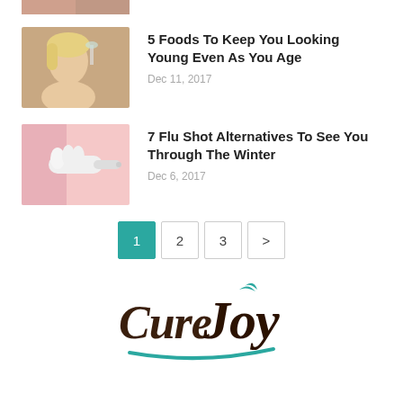[Figure (photo): Partial thumbnail image at top of page, cropped]
[Figure (photo): Blonde woman smiling holding a glass]
5 Foods To Keep You Looking Young Even As You Age
Dec 11, 2017
[Figure (photo): Medical professional administering an injection]
7 Flu Shot Alternatives To See You Through The Winter
Dec 6, 2017
1 2 3 >
[Figure (logo): CureJoy logo in brown and teal cursive text]